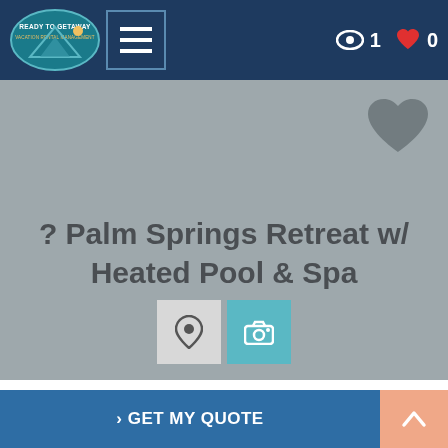[Figure (screenshot): Website navigation bar with logo 'Ready to Getaway Vacation Rental Management', hamburger menu icon, eye icon with count '1', and red heart icon with count '0']
[Figure (screenshot): Hero section with gray background, gray heart icon top-right, title '? Palm Springs Retreat w/ Heated Pool & Spa', location pin button and camera button]
? PALM SPRINGS
RETREAT W/ HEATED POOL &
[Figure (screenshot): Bottom bar with blue 'GET MY QUOTE' button and salmon/peach scroll-to-top button]